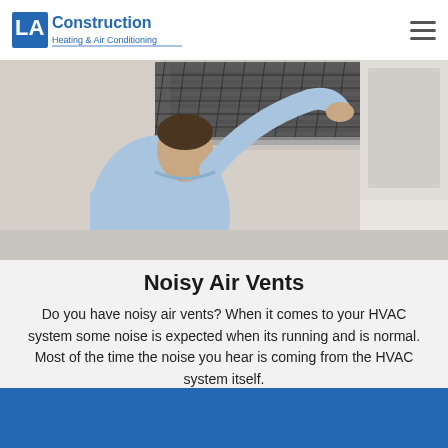LA Construction Heating & Air Conditioning
[Figure (photo): A man in a light blue shirt reaching up to replace or inspect a dirty HVAC air filter in a ceiling vent]
Noisy Air Vents
Do you have noisy air vents? When it comes to your HVAC system some noise is expected when its running and is normal. Most of the time the noise you hear is coming from the HVAC system itself.
READ MORE